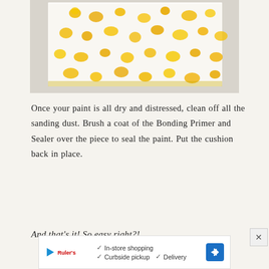[Figure (photo): A folded piece of fabric with a white background and yellow floral pattern, photographed on a light grey surface.]
Once your paint is all dry and distressed, clean off all the sanding dust. Brush a coat of the Bonding Primer and Sealer over the piece to seal the paint. Put the cushion back in place.
And that's it! So easy right?!
[Figure (screenshot): Advertisement banner: Ruler's with checkmarks showing In-store shopping, Curbside pickup, Delivery, with a navigation arrow icon.]